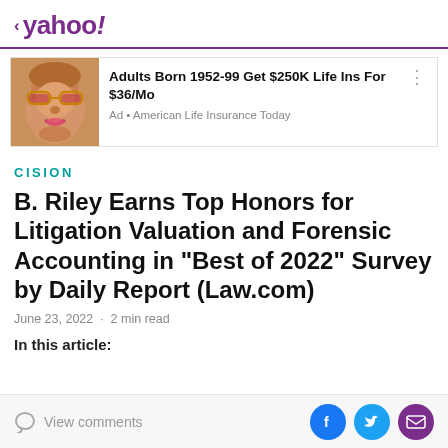< yahoo!
[Figure (photo): Advertisement banner with photo of elderly person with glasses and bold text about life insurance offer. Text: Adults Born 1952-99 Get $250K Life Ins For $36/Mo. Ad • American Life Insurance Today]
CISION
B. Riley Earns Top Honors for Litigation Valuation and Forensic Accounting in "Best of 2022" Survey by Daily Report (Law.com)
June 23, 2022 · 2 min read
In this article:
View comments